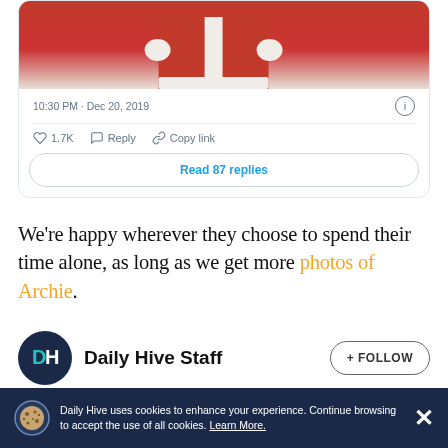[Figure (screenshot): Screenshot of a tweet card showing a Santa Claus photo at top, timestamp '10:30 PM · Dec 20, 2019', like count 1.7K, Reply, Copy link actions, and a 'Read 87 replies' button]
We're happy wherever they choose to spend their time alone, as long as we get more photos of Archie.
Daily Hive Staff  + FOLLOW
Daily Hive uses cookies to enhance your experience. Continue browsing to accept the use of all cookies. Learn More.